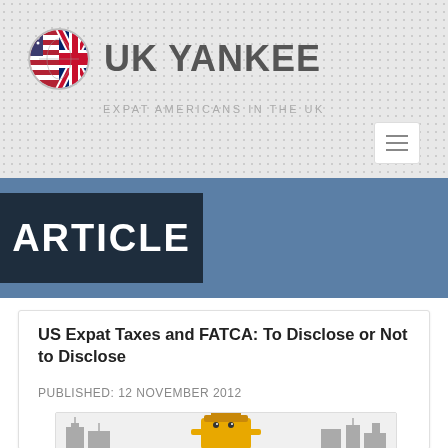[Figure (logo): UK Yankee website logo with circular flag emblem (US/UK flags combined) and text 'UK YANKEE' with tagline 'EXPAT AMERICANS IN THE UK']
ARTICLE
US Expat Taxes and FATCA: To Disclose or Not to Disclose
PUBLISHED: 12 NOVEMBER 2012
[Figure (illustration): Cartoon illustration of a spy/villain character in yellow coat with dark hat standing in front of gray city buildings skyline]